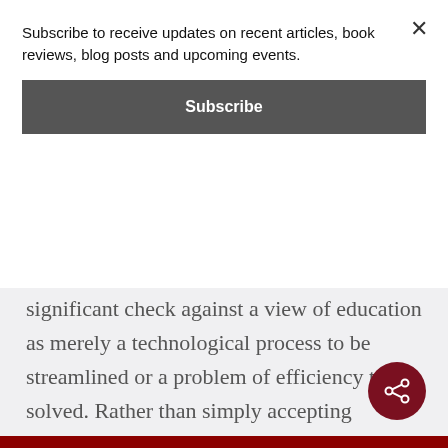Subscribe to receive updates on recent articles, book reviews, blog posts and upcoming events.
Subscribe
significant check against a view of education as merely a technological process to be streamlined or a problem of efficiency to be solved. Rather than simply accepting proposals for technological automation, which can lead to information or knowledge “reductionism,” we must create and